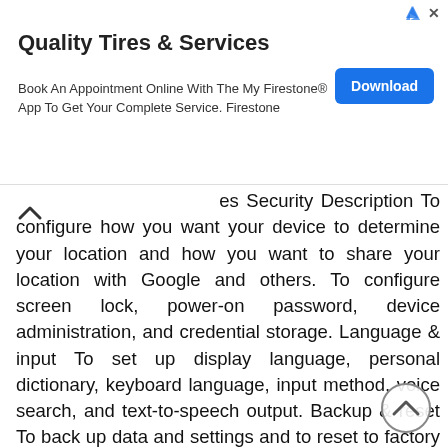[Figure (screenshot): Advertisement banner for Quality Tires & Services / Firestone with a blue Download button, ad icons, and close button]
es Security Description To configure how you want your device to determine your location and how you want to share your location with Google and others. To configure screen lock, power-on password, device administration, and credential storage. Language & input To set up display language, personal dictionary, keyboard language, input method, voice search, and text-to-speech output. Backup & reset To back up data and settings and to reset to factory default state. 7-4 Managing Your Device